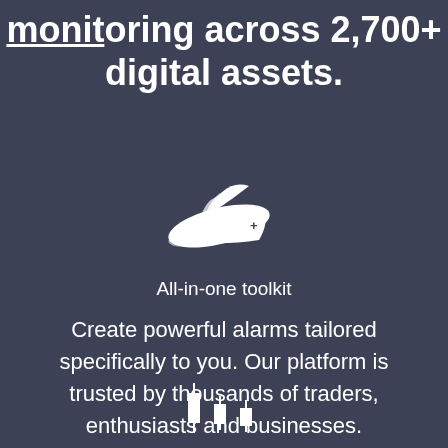monitoring across 2,700+ digital assets.
[Figure (illustration): White Swiss Army knife icon on dark background]
All-in-one toolkit
Create powerful alarms tailored specifically to you. Our platform is trusted by thousands of traders, enthusiasts and businesses.
[Figure (illustration): Partial white candlestick chart icon at bottom of page]